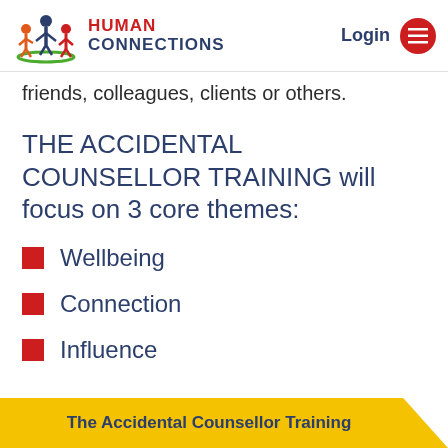[Figure (logo): Human Connections logo with colorful figures and navigation bar with Login button]
friends, colleagues, clients or others.
THE ACCIDENTAL COUNSELLOR TRAINING will focus on 3 core themes:
Wellbeing
Connection
Influence
The Accidental Counsellor Training